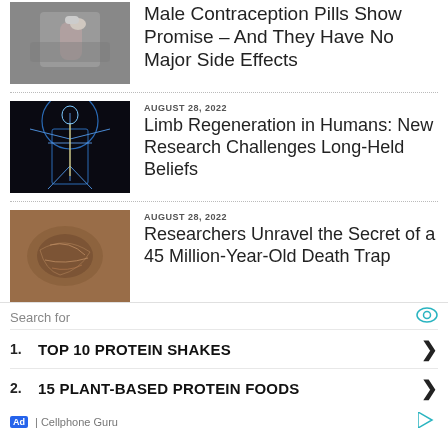[Figure (photo): Man holding a small pill between his fingers, close-up, beard visible]
Male Contraception Pills Show Promise – And They Have No Major Side Effects
AUGUST 28, 2022
[Figure (photo): Vitruvian man style anatomical illustration with glowing blue skeletal/nerve system on black background]
Limb Regeneration in Humans: New Research Challenges Long-Held Beliefs
AUGUST 28, 2022
[Figure (photo): Close-up of a fossil embedded in rock, brownish texture, 45 million years old death trap]
Researchers Unravel the Secret of a 45 Million-Year-Old Death Trap
Search for
1. TOP 10 PROTEIN SHAKES
2. 15 PLANT-BASED PROTEIN FOODS
Ad | Cellphone Guru